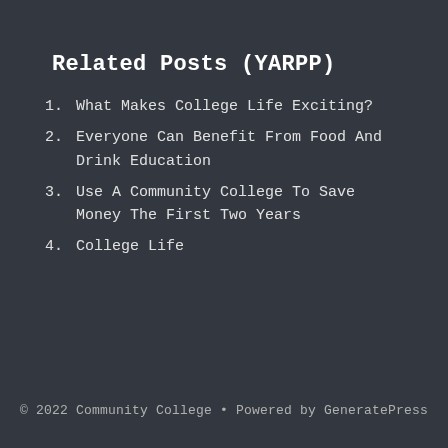Related Posts (YARPP)
What Makes College Life Exciting?
Everyone Can Benefit From Food And Drink Education
Use A Community College To Save Money The First Two Years
College Life
© 2022 Community College • Powered by GeneratePress